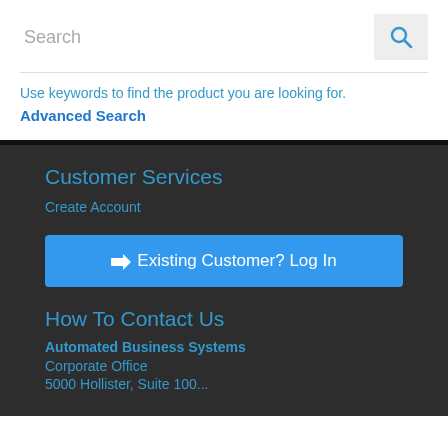Search
Use keywords to find the product you are looking for.
Advanced Search
Customer Services
Create Account
➨ Existing Customer? Log In
How To Contact Us
Automated Business Systems
Corporate Office